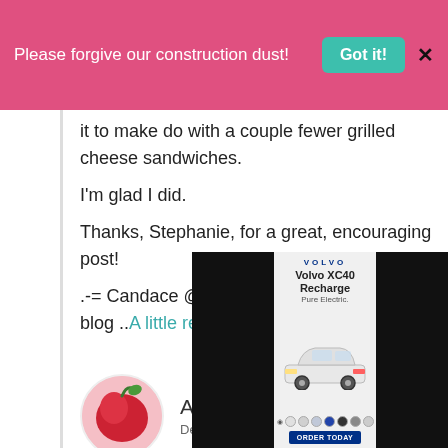Please forgive our construction dust! Got it! X
it to make do with a couple fewer grilled cheese sandwiches.
I'm glad I did.
Thanks, Stephanie, for a great, encouraging post!
.-= Candace @ Worker at Home´s last blog ..A little re
[Figure (screenshot): Volvo XC40 Recharge advertisement overlay showing car image and color swatches]
An
December 31, 2009 at 3:11 am